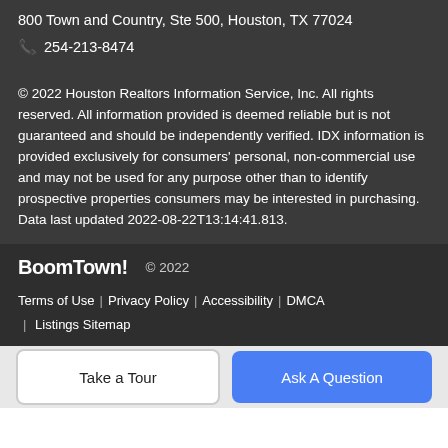800 Town and Country, Ste 500, Houston, TX 77024
📞 254-213-8474
© 2022 Houston Realtors Information Service, Inc. All rights reserved. All information provided is deemed reliable but is not guaranteed and should be independently verified. IDX information is provided exclusively for consumers' personal, non-commercial use and may not be used for any purpose other than to identify prospective properties consumers may be interested in purchasing. Data last updated 2022-08-22T13:14:41.813.
BoomTown! © 2022 | Terms of Use | Privacy Policy | Accessibility | DMCA | Listings Sitemap
Take a Tour
Ask A Question